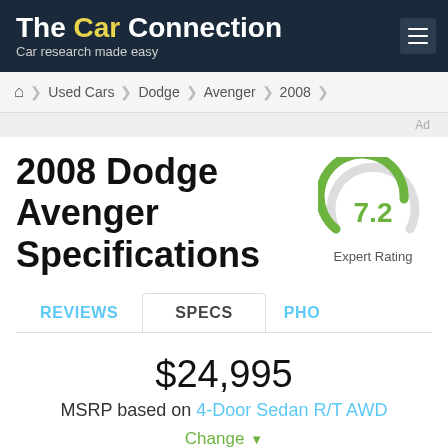The Car Connection — Car research made easy
Used Cars > Dodge > Avenger > 2008
2008 Dodge Avenger Specifications
[Figure (other): Circular gauge showing expert rating of 7.2 out of 10, with green arc and gray incomplete portion. Label reads 'Expert Rating'.]
REVIEWS | SPECS | PHO
$24,995
MSRP based on 4-Door Sedan R/T AWD
Change